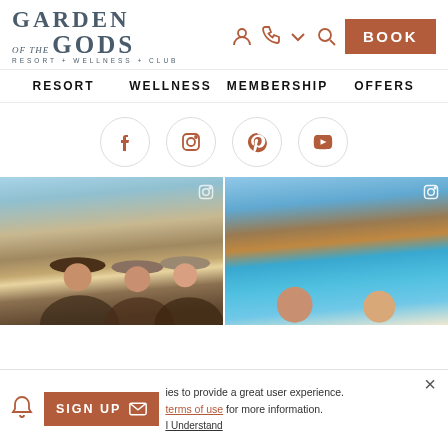GARDEN OF THE GODS RESORT + WELLNESS + CLUB
RESORT   WELLNESS   MEMBERSHIP   OFFERS
[Figure (logo): Garden of the Gods Resort + Wellness + Club logo]
[Figure (infographic): Social media icons row: Facebook, Instagram, Pinterest, YouTube]
[Figure (photo): Left photo: Three women in wide-brim hats smiling outdoors with red rock formations in background]
[Figure (photo): Right photo: Children swimming in pool with Garden of the Gods red rock formations and mountains in background]
ies to provide a great user experience. terms of use for more information.
I Understand